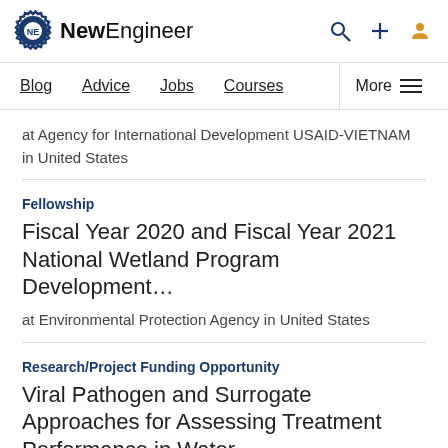NewEngineer
Blog | Advice | Jobs | Courses | More
at Agency for International Development USAID-VIETNAM in United States
Fellowship
Fiscal Year 2020 and Fiscal Year 2021 National Wetland Program Development…
at Environmental Protection Agency in United States
Research/Project Funding Opportunity
Viral Pathogen and Surrogate Approaches for Assessing Treatment Performance in Water…